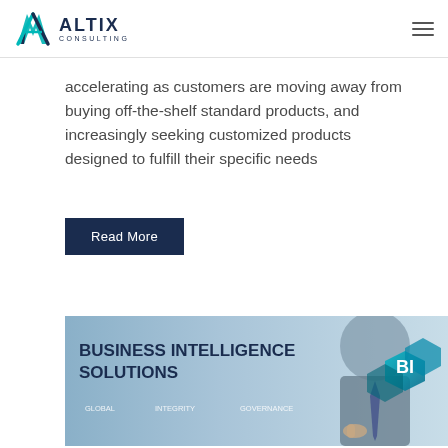ALTIX CONSULTING
accelerating as customers are moving away from buying off-the-shelf standard products, and increasingly seeking customized products designed to fulfill their specific needs
Read More
[Figure (photo): Business Intelligence Solutions promotional banner showing a person in a suit interacting with a hexagonal BI graphic, with the words BUSINESS INTELLIGENCE SOLUTIONS and labels GLOBAL, INTEGRITY, GOVERNANCE, and a large BI badge]